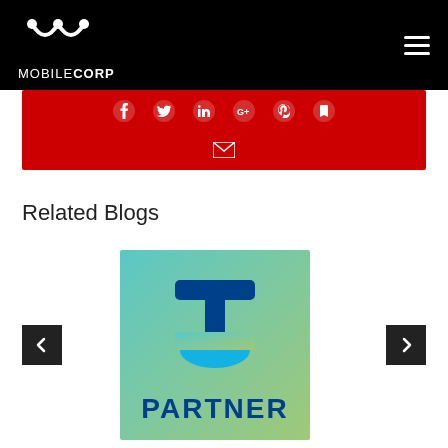[Figure (logo): MobileCorp logo: white stylized M icon with dot above, text MOBILECORP below, on black background]
[Figure (infographic): Red bar with social media sharing icons (Facebook, Twitter, LinkedIn, Google+, Pinterest, etc.) and an email envelope icon]
Related Blogs
[Figure (photo): Telstra Partner logo on teal/green gradient background showing T symbol and the word PARTNER]
[Figure (infographic): Left navigation arrow button (dark background) and right navigation arrow button for blog carousel]